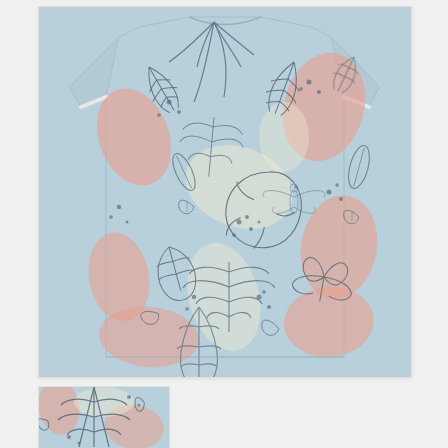[Figure (photo): Back view of a light blue short-sleeve t-shirt with an all-over tropical leaf print pattern featuring pink, cream, and dark outline leaves on a heather blue background]
[Figure (photo): Partial close-up thumbnail of the same tropical leaf print t-shirt, showing detail of the fabric pattern]